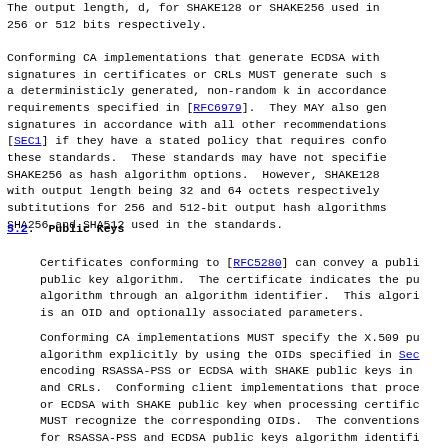The output length, d, for SHAKE128 or SHAKE256 used in 256 or 512 bits respectively.
Conforming CA implementations that generate ECDSA with signatures in certificates or CRLs MUST generate such s a deterministicly generated, non-random k in accordance requirements specified in [RFC6979].  They MAY also gen signatures in accordance with all other recommendations [SEC1] if they have a stated policy that requires confo these standards.  These standards may have not specifie SHAKE256 as hash algorithm options.  However, SHAKE128 with output length being 32 and 64 octets respectively subtitutions for 256 and 512-bit output hash algorithms SHA256 and SHA512 used in the standards.
5.2. Public Keys
Certificates conforming to [RFC5280] can convey a publi public key algorithm.  The certificate indicates the pu algorithm through an algorithm identifier.  This algori is an OID and optionally associated parameters.
Conforming CA implementations MUST specify the X.509 pu algorithm explicitly by using the OIDs specified in Sec encoding RSASSA-PSS or ECDSA with SHAKE public keys in and CRLs.  Conforming client implementations that proce or ECDSA with SHAKE public key when processing certific MUST recognize the corresponding OIDs.  The conventions for RSASSA-PSS and ECDSA public keys algorithm identifi specified in Section 2.3 of [RFC3279], Section 3.1 of